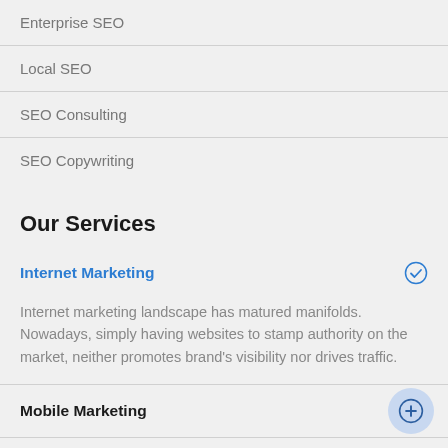Enterprise SEO
Local SEO
SEO Consulting
SEO Copywriting
Our Services
Internet Marketing
Internet marketing landscape has matured manifolds. Nowadays, simply having websites to stamp authority on the market, neither promotes brand's visibility nor drives traffic.
Mobile Marketing
Content Marketing